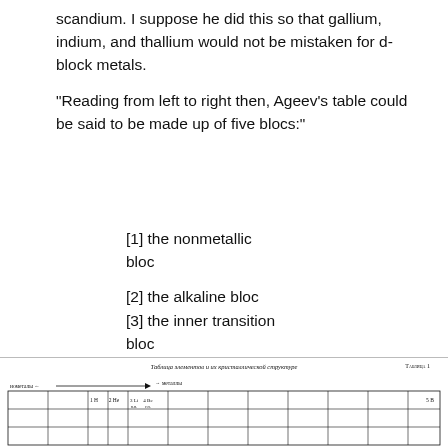scandium. I suppose he did this so that gallium, indium, and thallium would not be mistaken for d-block metals.
"Reading from left to right then, Ageev's table could be said to be made up of five blocs:"
[1] the nonmetallic bloc
[2] the alkaline bloc
[3] the inner transition bloc
[4] the transition metal block
[5] a post-transition metallic bloc
[Figure (table-as-image): Ageev's table of elements by crystal structure (Таблица элементов и их кристаллической структуре). A periodic-table style grid with Russian labels, arrows indicating nonmetals and metals, and element symbols in cells. Labeled Таблица 1 in upper right.]